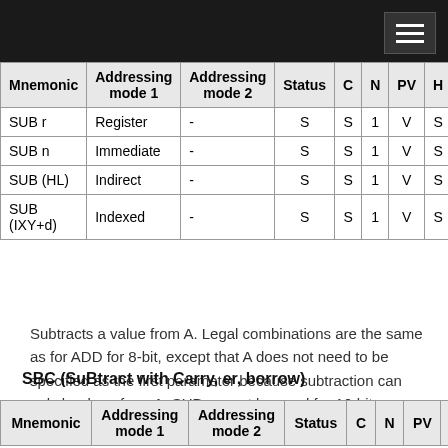| Mnemonic | Addressing mode 1 | Addressing mode 2 | Status | C | N | PV | H | Z |
| --- | --- | --- | --- | --- | --- | --- | --- | --- |
| SUB r | Register | - | S | S | 1 | V | S | S |
| SUB n | Immediate | - | S | S | 1 | V | S | S |
| SUB (HL) | Indirect | - | S | S | 1 | V | S | S |
| SUB (IXY+d) | Indexed | - | S | S | 1 | V | S | S |
Subtracts a value from A. Legal combinations are the same as for ADD for 8-bit, except that A does not need to be specified as the first parameter because subtraction can only be done from A. SUB cannot be used for 16-bit numbers.
SBC (SuBtract with Carry, er, borrow)
| Mnemonic | Addressing mode 1 | Addressing mode 2 | Status | C | N | PV | H |
| --- | --- | --- | --- | --- | --- | --- | --- |